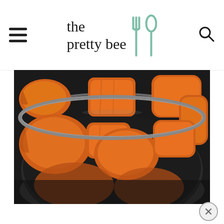the pretty bee
[Figure (photo): Chunks of peeled sweet potato in a metal pot, photographed from above on a dark background]